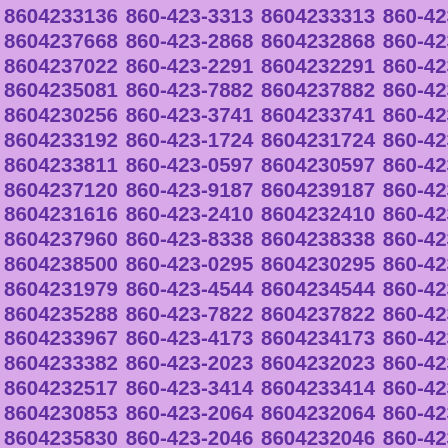8604233136 860-423-3313 8604233313 860-423-7668 8604237668 860-423-2868 8604232868 860-423-7022 8604237022 860-423-2291 8604232291 860-423-5081 8604235081 860-423-7882 8604237882 860-423-0256 8604230256 860-423-3741 8604233741 860-423-3192 8604233192 860-423-1724 8604231724 860-423-3811 8604233811 860-423-0597 8604230597 860-423-7120 8604237120 860-423-9187 8604239187 860-423-1616 8604231616 860-423-2410 8604232410 860-423-7960 8604237960 860-423-8338 8604238338 860-423-8500 8604238500 860-423-0295 8604230295 860-423-1979 8604231979 860-423-4544 8604234544 860-423-5288 8604235288 860-423-7822 8604237822 860-423-3967 8604233967 860-423-4173 8604234173 860-423-3382 8604233382 860-423-2023 8604232023 860-423-2517 8604232517 860-423-3414 8604233414 860-423-0853 8604230853 860-423-2064 8604232064 860-423-5830 8604235830 860-423-2046 8604232046 860-423-4890 8604234890 860-423-4372 8604234372 860-423-8249 8604238249 860-423-1112 8604231112 860-423-2292 8604232292 860-423-3030 8604233030 860-423-...